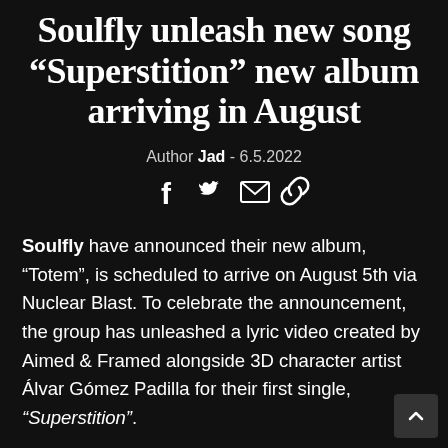Soulfly unleash new song “Superstition” new album arriving in August
Author Jad - 6.5.2022
[Figure (other): Social sharing icons: Facebook, Twitter, Email, Link]
Soulfly have announced their new album, “Totem”, is scheduled to arrive on August 5th via Nuclear Blast. To celebrate the announcement, the group has unleashed a lyric video created by Aimed & Framed alongside 3D character artist Álvar Gómez Padilla for their first single, “Superstition”.